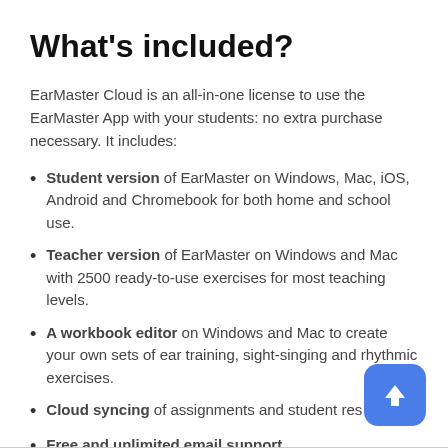What's included?
EarMaster Cloud is an all-in-one license to use the EarMaster App with your students: no extra purchase necessary. It includes:
Student version of EarMaster on Windows, Mac, iOS, Android and Chromebook for both home and school use.
Teacher version of EarMaster on Windows and Mac with 2500 ready-to-use exercises for most teaching levels.
A workbook editor on Windows and Mac to create your own sets of ear training, sight-singing and rhythmic exercises.
Cloud syncing of assignments and student res…
Free and unlimited email support.